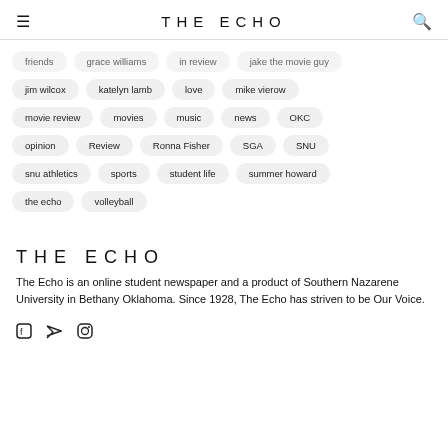THE ECHO
friends   grace williams   in review   jake the movie guy
jim wilcox   katelyn lamb   love   mike vierow
movie review   movies   music   news   OKC
opinion   Review   Ronna Fisher   SGA   SNU
snu athletics   sports   student life   summer howard
the echo   volleyball
THE ECHO
The Echo is an online student newspaper and a product of Southern Nazarene University in Bethany Oklahoma. Since 1928, The Echo has striven to be Our Voice.